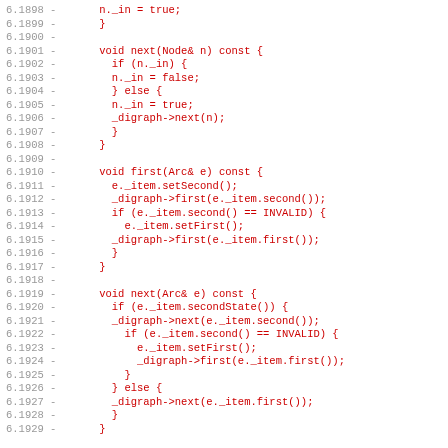Code diff showing lines 6.1898-6.1929 with removed code in red monospace font
6.1898 -     n._in = true;
6.1899 -     }
6.1900 -
6.1901 -     void next(Node& n) const {
6.1902 -       if (n._in) {
6.1903 -       n._in = false;
6.1904 -       } else {
6.1905 -       n._in = true;
6.1906 -       _digraph->next(n);
6.1907 -       }
6.1908 -     }
6.1909 -
6.1910 -     void first(Arc& e) const {
6.1911 -       e._item.setSecond();
6.1912 -       _digraph->first(e._item.second());
6.1913 -       if (e._item.second() == INVALID) {
6.1914 -         e._item.setFirst();
6.1915 -       _digraph->first(e._item.first());
6.1916 -       }
6.1917 -     }
6.1918 -
6.1919 -     void next(Arc& e) const {
6.1920 -       if (e._item.secondState()) {
6.1921 -       _digraph->next(e._item.second());
6.1922 -         if (e._item.second() == INVALID) {
6.1923 -           e._item.setFirst();
6.1924 -           _digraph->first(e._item.first());
6.1925 -         }
6.1926 -       } else {
6.1927 -       _digraph->next(e._item.first());
6.1928 -       }
6.1929 -     }